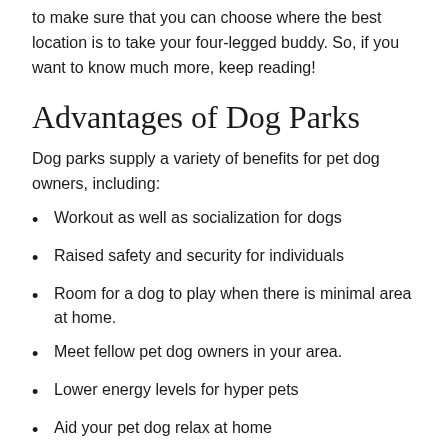to make sure that you can choose where the best location is to take your four-legged buddy. So, if you want to know much more, keep reading!
Advantages of Dog Parks
Dog parks supply a variety of benefits for pet dog owners, including:
Workout as well as socialization for dogs
Raised safety and security for individuals
Room for a dog to play when there is minimal area at home.
Meet fellow pet dog owners in your area.
Lower energy levels for hyper pets
Aid your pet dog relax at home